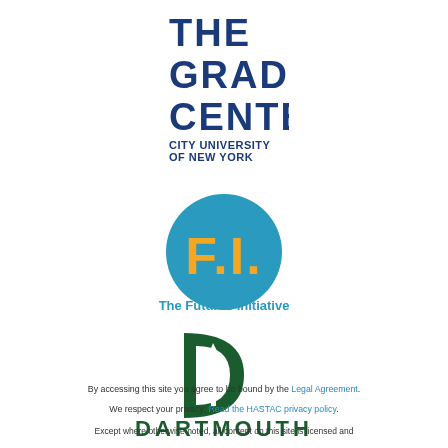[Figure (logo): The Graduate Center, City University of New York logo with stacked bold blue text]
[Figure (logo): The Futures Initiative logo: teal circle with yellow F.I. text and subtitle]
[Figure (logo): Dartmouth logo: green D with white pine tree, DARTMOUTH text below]
By accessing this site you agree to be bound by the Legal Agreement.
We respect your privacy: Read the HASTAC privacy policy.
Except where otherwise noted, all content on this site is licensed and...